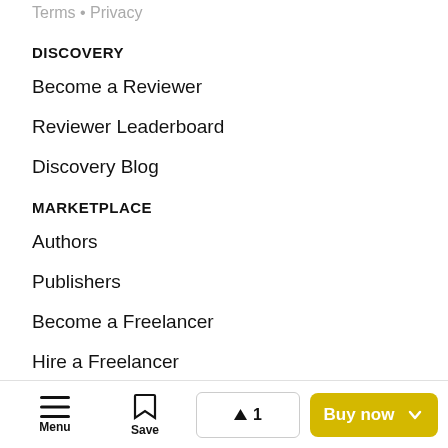Terms • Privacy
DISCOVERY
Become a Reviewer
Reviewer Leaderboard
Discovery Blog
MARKETPLACE
Authors
Publishers
Become a Freelancer
Hire a Freelancer
About Reedsy
Menu | Save | ▲ 1 | Buy now